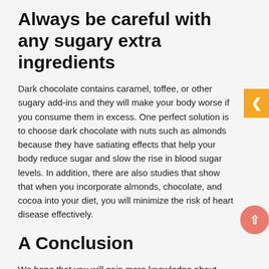Always be careful with any sugary extra ingredients
Dark chocolate contains caramel, toffee, or other sugary add-ins and they will make your body worse if you consume them in excess. One perfect solution is to choose dark chocolate with nuts such as almonds because they have satiating effects that help your body reduce sugar and slow the rise in blood sugar levels. In addition, there are also studies that show that when you incorporate almonds, chocolate, and cocoa into your diet, you will minimize the risk of heart disease effectively.
A Conclusion
We hope that you will gain more knowledge about dark chocolate as well as effective ways to consume them in the process of reducing the risk of diabetes. Furthermore, if you want to know more about the beneficial factors that dark chocolate can bring, then read "4 Proven Benefits Of Dark Chocolate" today!